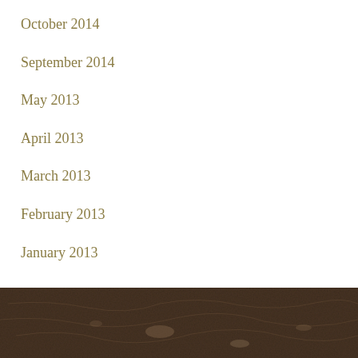October 2014
September 2014
May 2013
April 2013
March 2013
February 2013
January 2013
[Figure (photo): Dark brown textured background resembling soil or bark at the bottom of the page]